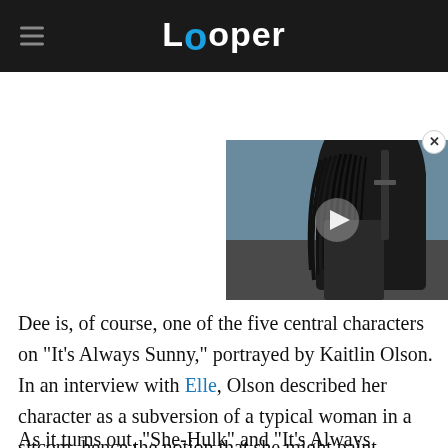Looper
[Figure (screenshot): Video thumbnail showing a dark fantasy character (Witcher-like) with long black hair and armor, with a play button overlay]
Dee is, of course, one of the five central characters on "It's Always Sunny," portrayed by Kaitlin Olson. In an interview with Elle, Olson described her character as a subversion of a typical woman in a sitcom, hence the notion that she might paint herself green and pose like a superhero resonating with "It's Always Sunny" fans.
As it turns out, "She-Hulk" and "It's Always Sunny"